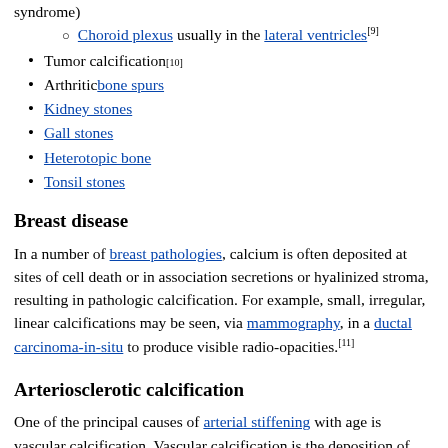Choroid plexus usually in the lateral ventricles[9]
Tumor calcification[10]
Arthritic bone spurs
Kidney stones
Gall stones
Heterotopic bone
Tonsil stones
Breast disease
In a number of breast pathologies, calcium is often deposited at sites of cell death or in association secretions or hyalinized stroma, resulting in pathologic calcification. For example, small, irregular, linear calcifications may be seen, via mammography, in a ductal carcinoma-in-situ to produce visible radio-opacities.[11]
Arteriosclerotic calcification
One of the principal causes of arterial stiffening with age is vascular calcification. Vascular calcification is the deposition of mineral in the form of calcium phosphate salts in the smooth muscle-rich medial layer of large arteries including the aorta. DNA damage, especially oxidative DNA damage, causes accelerated